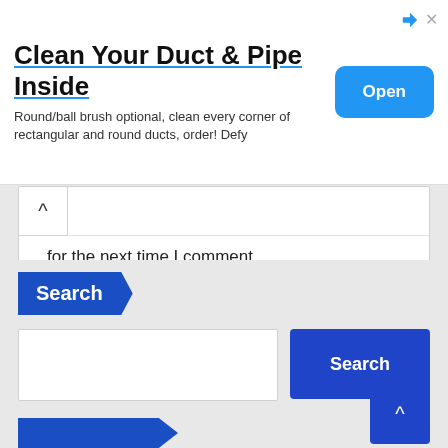[Figure (screenshot): Advertisement banner: 'Clean Your Duct & Pipe Inside' with Open button]
for the next time I comment.
Post Comment (button)
Search
Search (button)